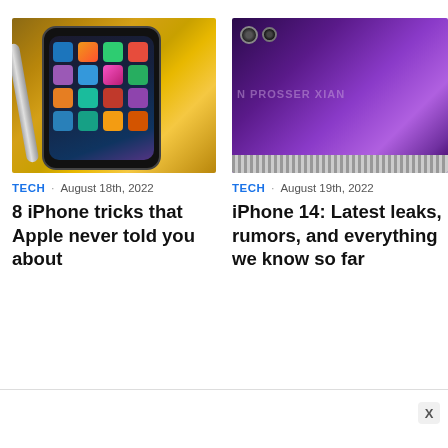[Figure (photo): iPhone showing home screen with app icons, next to a stylus, on a wooden surface]
[Figure (photo): Back of a purple iPhone 14 showing camera bump, with watermark text 'N PROSSER XIAN']
TECH · August 18th, 2022
TECH · August 19th, 2022
8 iPhone tricks that Apple never told you about
iPhone 14: Latest leaks, rumors, and everything we know so far